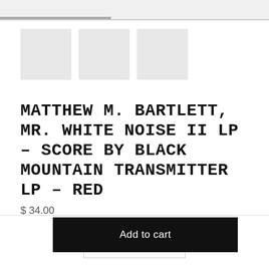[Figure (screenshot): Three gray placeholder thumbnail image boxes arranged horizontally]
Matthew M. Bartlett, Mr. White Noise II LP - Score by Black Mountain Transmitter LP - Red
$ 34.00
- 1 +
Add to cart